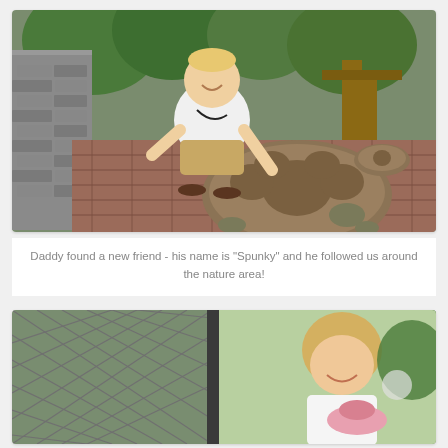[Figure (photo): A man crouching down on a brick path, smiling and touching a large tortoise. A stone wall is on the left, trees and wooden structures in the background. Another smaller tortoise visible in the background on the right.]
Daddy found a new friend - his name is "Spunky" and he followed us around the nature area!
[Figure (photo): A young blonde girl smiling and looking down, wearing a white top and holding a pink hat. Behind her is a chain-link fence enclosure and green trees.]